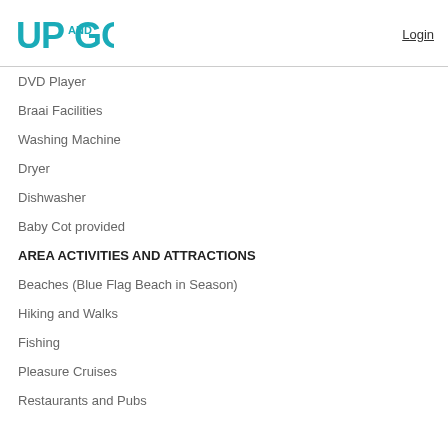[Figure (logo): UP AND GO logo in teal/cyan color]
Login
DVD Player
Braai Facilities
Washing Machine
Dryer
Dishwasher
Baby Cot provided
AREA ACTIVITIES AND ATTRACTIONS
Beaches (Blue Flag Beach in Season)
Hiking and Walks
Fishing
Pleasure Cruises
Restaurants and Pubs